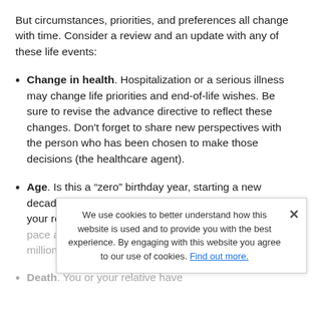But circumstances, priorities, and preferences all change with time. Consider a review and an update with any of these life events:
Change in health. Hospitalization or a serious illness may change life priorities and end-of-life wishes. Be sure to revise the advance directive to reflect these changes. Don't forget to share new perspectives with the person who has been chosen to make those decisions (the healthcare agent).
Age. Is this a “zero” birthday year, starting a new decade of life? That's a great review trigger. But once your relative reaches age 70, you might step up the pace and review the directive on every other year (annually, as we all move on).
Death. You or your relative have...
We use cookies to better understand how this website is used and to provide you with the best experience. By engaging with this website you agree to our use of cookies. Find out more.